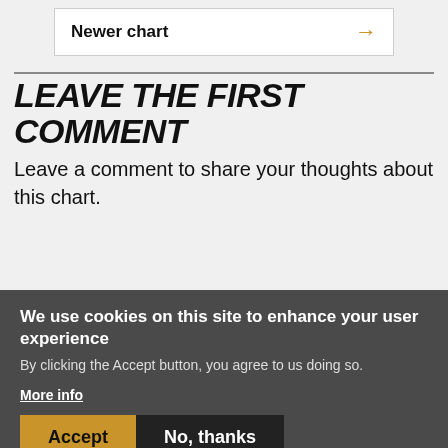Newer chart →
LEAVE THE FIRST COMMENT
Leave a comment to share your thoughts about this chart.
We use cookies on this site to enhance your user experience
By clicking the Accept button, you agree to us doing so.
More info
Accept
No, thanks